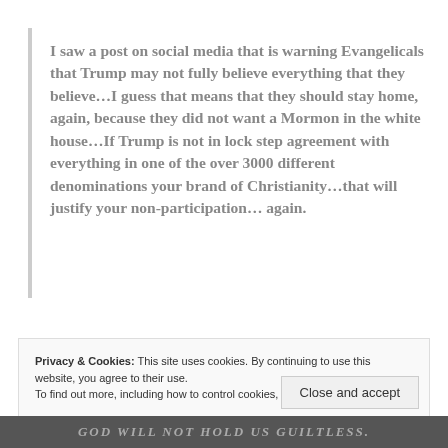I saw a post on social media that is warning Evangelicals that Trump may not fully believe everything that they believe...I guess that means that they should stay home, again, because they did not want a Mormon in the white house...If Trump is not in lock step agreement with everything in one of the over 3000 different denominations your brand of Christianity...that will justify your non-participation... again.
Privacy & Cookies: This site uses cookies. By continuing to use this website, you agree to their use. To find out more, including how to control cookies, see here: Cookie Policy
Close and accept
GOD WILL NOT HOLD US GUILTLESS.